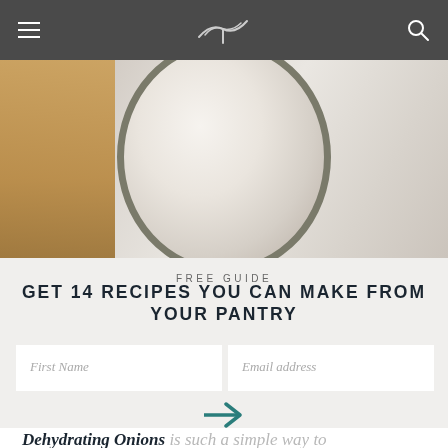[Figure (screenshot): Website navigation bar with hamburger menu icon on left, whisk icon in center, and search icon on right, on dark gray background]
[Figure (photo): Top-down photo of a glass bowl on marble surface with a wooden cutting board visible, containing what appears to be a creamy mixture]
FREE GUIDE
GET 14 RECIPES YOU CAN MAKE FROM YOUR PANTRY
First Name
Email address
Dehydrating Onions is such a simple way to preserve this delicious pantry staple! Learn how to